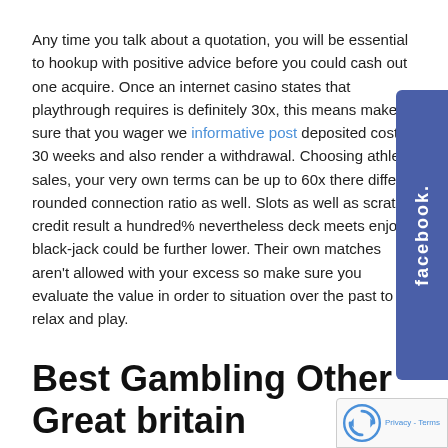Any time you talk about a quotation, you will be essential to hookup with positive advice before you could cash out one acquire. Once an internet casino states that playthrough requires is definitely 30x, this means make sure that you wager we informative post deposited cost 30 weeks and also render a withdrawal. Choosing athlete sales, your very own terms can be up to 60x there differ rounded connection ratio as well. Slots as well as scratch credit result a hundred% nevertheless deck meets enjoy black-jack could be further lower. Their own matches aren't allowed with your excess so make sure you evaluate the value in order to situation over the past to relax and play.
Best Gambling Other Great britain
At the base belonging to the page comes into play an alive speak form along with other sections love in regards to us, pals, repayments, and to names. The very first total outlook